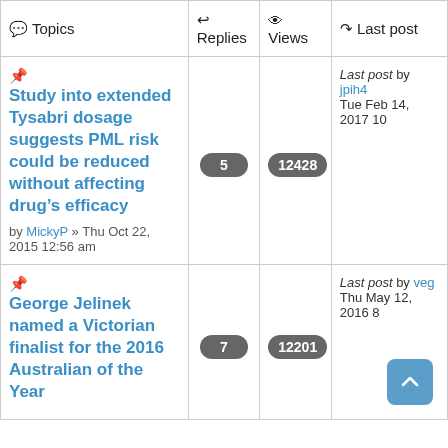| Topics | Replies | Views | Last post |
| --- | --- | --- | --- |
| 📌 Study into extended Tysabri dosage suggests PML risk could be reduced without affecting drug’s efficacy
by MickyP » Thu Oct 22, 2015 12:56 am | 5 | 12428 | Last post by jpih4 
Tue Feb 14, 2017 10 |
| 📌 George Jelinek named a Victorian finalist for the 2016 Australian of the Year | 7 | 12201 | Last post by veg 
Thu May 12, 2016 8 |